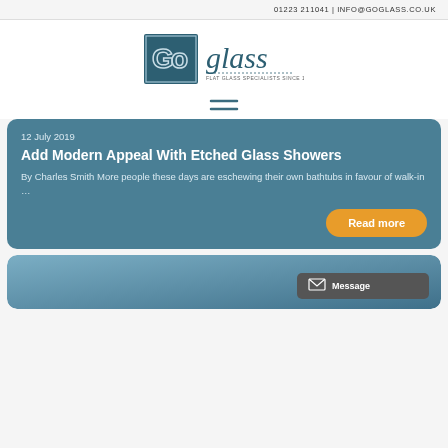01223 211041 | INFO@GOGLASS.CO.UK
[Figure (logo): Go glass logo — 'Go' in a dark teal square with outlined letters, 'glass' in italic script beside it, tagline 'FLAT GLASS SPECIALISTS SINCE 1998' below]
[Figure (other): Hamburger menu icon — two horizontal dark teal lines]
12 July 2019
Add Modern Appeal With Etched Glass Showers
By Charles Smith More people these days are eschewing their own bathtubs in favour of walk-in …
Read more
[Figure (other): Second article card — teal/blue gradient card, partially visible at bottom of page]
Message